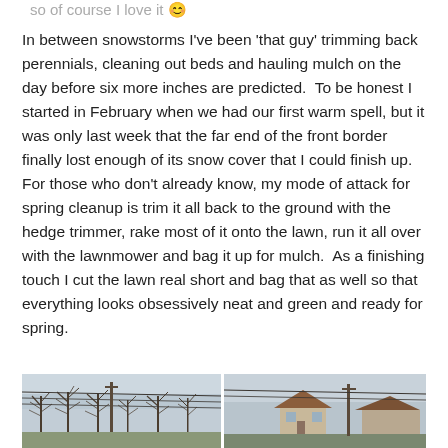so of course I love it 😊
In between snowstorms I've been 'that guy' trimming back perennials, cleaning out beds and hauling mulch on the day before six more inches are predicted.  To be honest I started in February when we had our first warm spell, but it was only last week that the far end of the front border finally lost enough of its snow cover that I could finish up.  For those who don't already know, my mode of attack for spring cleanup is trim it all back to the ground with the hedge trimmer, rake most of it onto the lawn, run it all over with the lawnmower and bag it up for mulch.  As a finishing touch I cut the lawn real short and bag that as well so that everything looks obsessively neat and green and ready for spring.
[Figure (photo): Two outdoor photos side by side showing bare winter trees with utility wires on the left, and a house with a brown roof on the right, taken in winter/early spring conditions.]